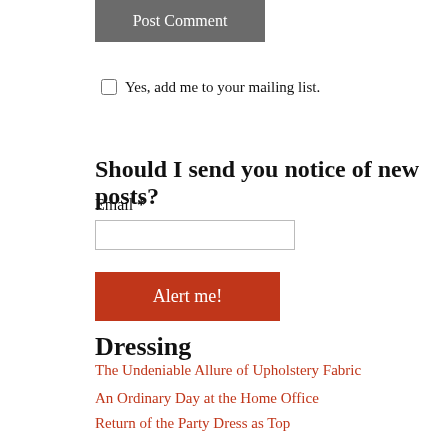Post Comment
Yes, add me to your mailing list.
Should I send you notice of new posts?
Email *
Alert me!
Dressing
The Undeniable Allure of Upholstery Fabric
An Ordinary Day at the Home Office
Return of the Party Dress as Top
A Rage for Novelty